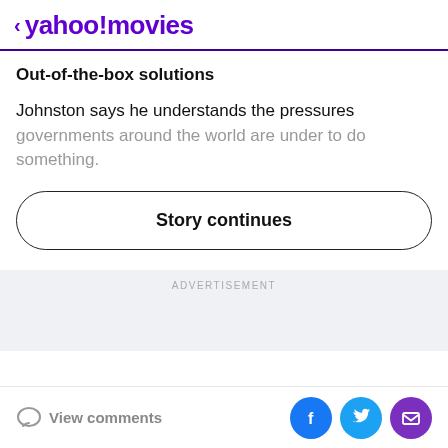< yahoo!movies
Out-of-the-box solutions
Johnston says he understands the pressures governments around the world are under to do something.
Story continues
ADVERTISEMENT
View comments